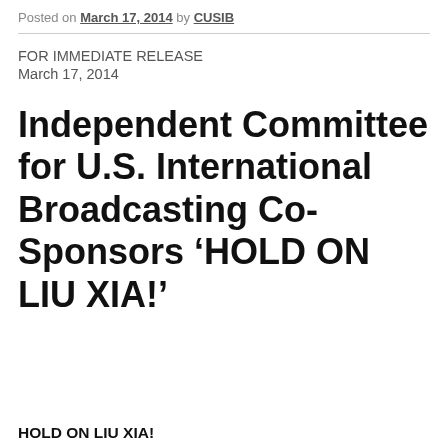Posted on March 17, 2014 by CUSIB
FOR IMMEDIATE RELEASE
March 17, 2014
Independent Committee for U.S. International Broadcasting Co-Sponsors ‘HOLD ON LIU XIA!’
HOLD ON LIU XIA!